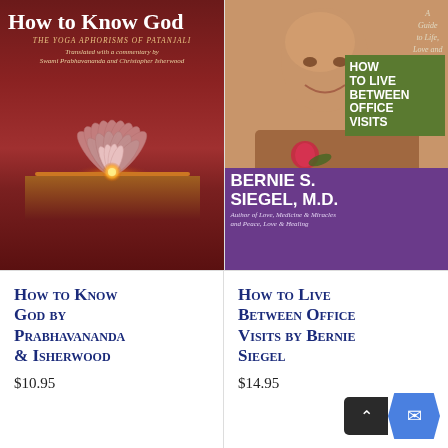[Figure (photo): Book cover of 'How to Know God: The Yoga Aphorisms of Patanjali', translated with commentary by Swami Prabhavananda and Christopher Isherwood. Dark red/maroon background with lotus mandala illustration and sunset glow.]
[Figure (photo): Book cover of 'How to Live Between Office Visits' by Bernie S. Siegel, M.D. Shows a bald smiling man holding a rose, with green title box and purple lower section. Subtitle: 'A Guide to Life, Love and Health'. Author of Love, Medicine & Miracles and Peace, Love & Healing.]
How to Know God by Prabhavananda & Isherwood
$10.95
How to Live Between Office Visits by Bernie Siegel
$14.95